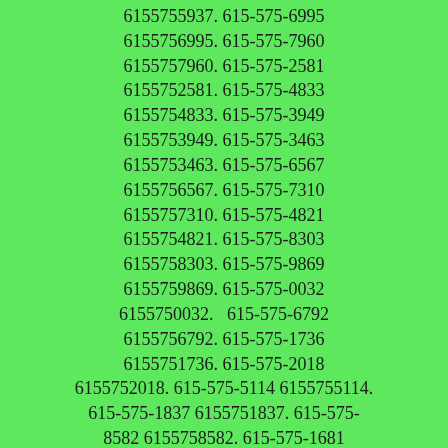6155755937. 615-575-6995 6155756995. 615-575-7960 6155757960. 615-575-2581 6155752581. 615-575-4833 6155754833. 615-575-3949 6155753949. 615-575-3463 6155753463. 615-575-6567 6155756567. 615-575-7310 6155757310. 615-575-4821 6155754821. 615-575-8303 6155758303. 615-575-9869 6155759869. 615-575-0032 6155750032.   615-575-6792 6155756792. 615-575-1736 6155751736. 615-575-2018 6155752018. 615-575-5114 6155755114. 615-575-1837 6155751837. 615-575-8582 6155758582. 615-575-1681 6155751681. 615-575-2646 6155752646. 615-575-7423 6155757423. 615-575-1280 6155751280. 615-575-0253 Caller Name Identify My Caller 6155750253. 615-575-1117 6155751117. 615-575-9761 6155759761. 615-575-8519